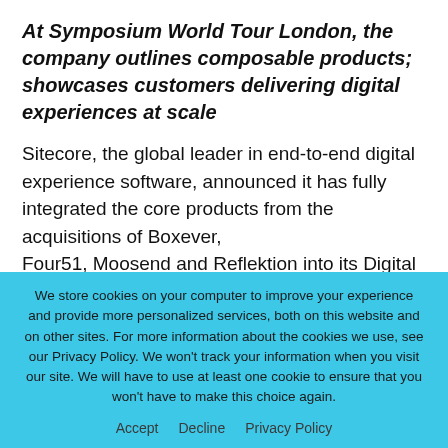At Symposium World Tour London, the company outlines composable products; showcases customers delivering digital experiences at scale
Sitecore, the global leader in end-to-end digital experience software, announced it has fully integrated the core products from the acquisitions of Boxever, Four51, Moosend and Reflektion into its Digital Experience Platform (DXP). The completion of
We store cookies on your computer to improve your experience and provide more personalized services, both on this website and on other sites. For more information about the cookies we use, see our Privacy Policy. We won't track your information when you visit our site. We will have to use at least one cookie to ensure that you won't have to make this choice again.
Accept   Decline   Privacy Policy